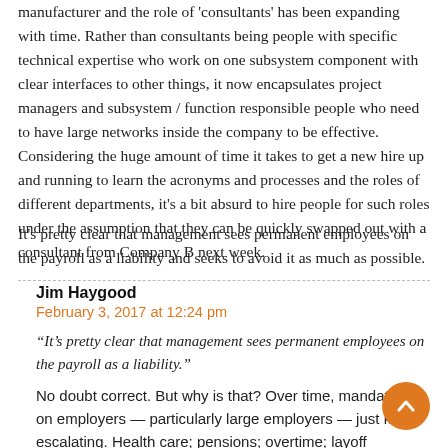manufacturer and the role of 'consultants' has been expanding with time. Rather than consultants being people with specific technical expertise who work on one subsystem component with clear interfaces to other things, it now encapsulates project managers and subsystem / function responsible people who need to have large networks inside the company to be effective. Considering the huge amount of time it takes to get a new hire up and running to learn the acronyms and processes and the roles of different departments, it's a bit absurd to hire people for such roles under the assumption that they can be quickly swapped out with a consultant from Company B next week.
It's pretty clear that management sees permanent employees on the payroll as a liability and seeks to avoid it as much as possible.
Jim Haygood
February 3, 2017 at 12:24 pm
“It’s pretty clear that management sees permanent employees on the payroll as a liability.”
No doubt correct. But why is that? Over time, mandates on employers — particularly large employers — just keep escalating. Health care; pensions; overtime; layoff